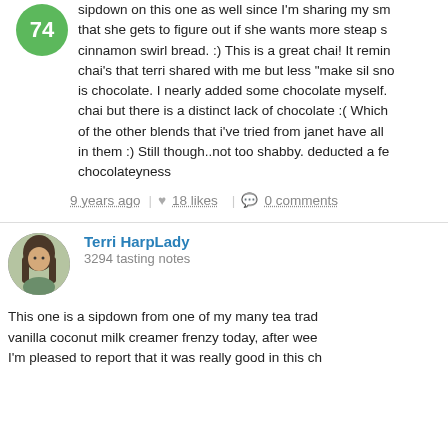sipdown on this one as well since I'm sharing my sm... that she gets to figure out if she wants more steap s... cinnamon swirl bread. :) This is a great chai! It remin... chai's that terri shared with me but less "make sil sno... is chocolate. I nearly added some chocolate myself. chai but there is a distinct lack of chocolate :( Which of the other blends that i've tried from janet have all in them :) Still though..not too shabby. deducted a fe... chocolateyness
9 years ago  |  ♥ 18 likes  |  💬 0 comments
Terri HarpLady
3294 tasting notes
This one is a sipdown from one of my many tea trad... vanilla coconut milk creamer frenzy today, after wee... I'm pleased to report that it was really good in this ch...